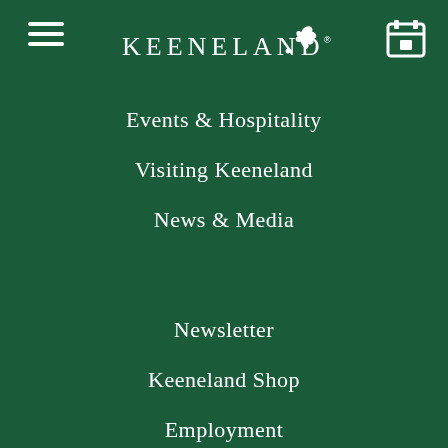[Figure (logo): Keeneland logo with horse silhouette and wordmark]
Events & Hospitality
Visiting Keeneland
News & Media
Newsletter
Keeneland Shop
Employment
Consignor Portfolio
Keeneland Sales Portal